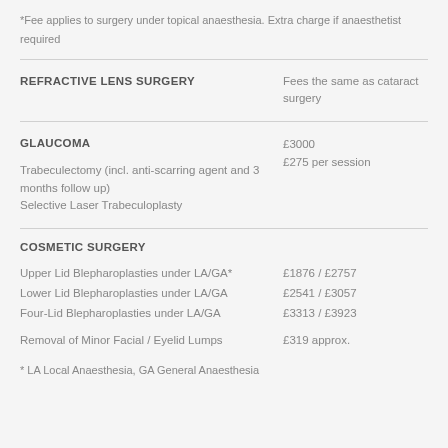*Fee applies to surgery under topical anaesthesia. Extra charge if anaesthetist required
| Procedure | Fee |
| --- | --- |
| REFRACTIVE LENS SURGERY | Fees the same as cataract surgery |
| GLAUCOMA
Trabeculectomy (incl. anti-scarring agent and 3 months follow up)
Selective Laser Trabeculoplasty | £3000
£275 per session |
| COSMETIC SURGERY
Upper Lid Blepharoplasties under LA/GA*
Lower Lid Blepharoplasties under LA/GA
Four-Lid Blepharoplasties under LA/GA
Removal of Minor Facial / Eyelid Lumps | £1876 / £2757
£2541 / £3057
£3313 / £3923
£319 approx. |
* LA Local Anaesthesia, GA General Anaesthesia